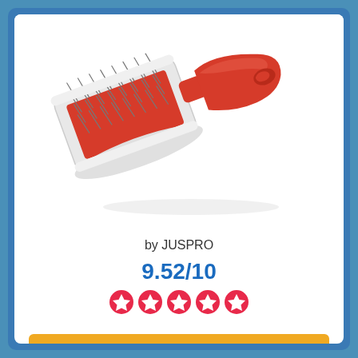[Figure (photo): A pet grooming slicker brush with a red handle and white head containing metal pins, shown at an angle on a white background.]
by JUSPRO
9.52/10
[Figure (other): Five red star rating icons]
Buy Now